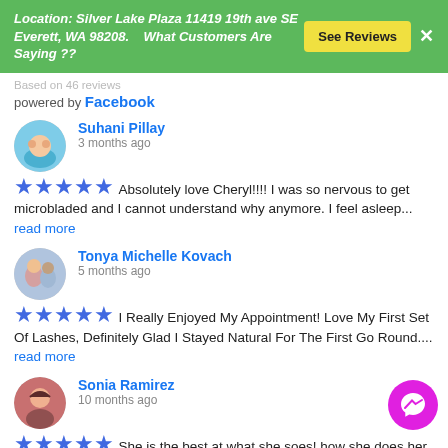Location: Silver Lake Plaza 11419 19th ave SE Everett, WA 98208.    What Customers Are Saying ??   See Reviews
Based on 46 reviews
powered by Facebook
Suhani Pillay
3 months ago
★★★★★ Absolutely love Cheryl!!!! I was so nervous to get microbladed and I cannot understand why anymore. I feel asleep... read more
Tonya Michelle Kovach
5 months ago
★★★★★ I Really Enjoyed My Appointment! Love My First Set Of Lashes, Definitely Glad I Stayed Natural For The First Go Round.... read more
Sonia Ramirez
10 months ago
★★★★★ She is the best at what she soes! how she does her work and also how she treats everyone th...